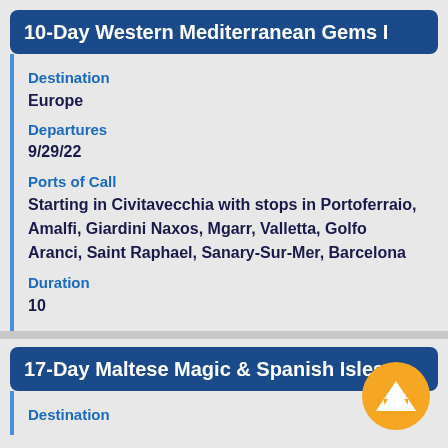10-Day Western Mediterranean Gems I
Destination
Europe
Departures
9/29/22
Ports of Call
Starting in Civitavecchia with stops in Portoferraio, Amalfi, Giardini Naxos, Mgarr, Valletta, Golfo Aranci, Saint Raphael, Sanary-Sur-Mer, Barcelona
Duration
10
17-Day Maltese Magic & Spanish Isles
Destination